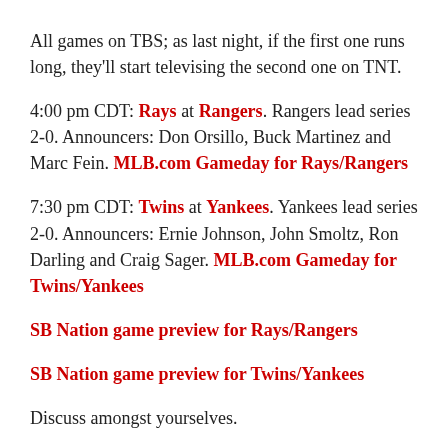All games on TBS; as last night, if the first one runs long, they'll start televising the second one on TNT.
4:00 pm CDT: Rays at Rangers. Rangers lead series 2-0. Announcers: Don Orsillo, Buck Martinez and Marc Fein. MLB.com Gameday for Rays/Rangers
7:30 pm CDT: Twins at Yankees. Yankees lead series 2-0. Announcers: Ernie Johnson, John Smoltz, Ron Darling and Craig Sager. MLB.com Gameday for Twins/Yankees
SB Nation game preview for Rays/Rangers
SB Nation game preview for Twins/Yankees
Discuss amongst yourselves.